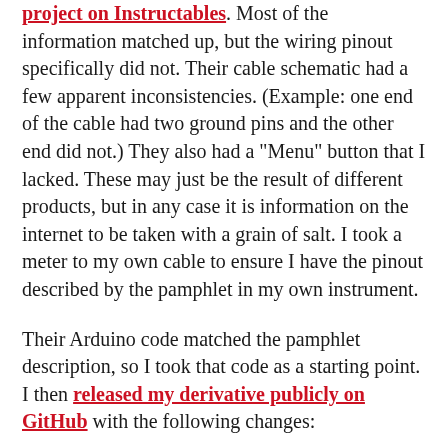project on Instructables. Most of the information matched up, but the wiring pinout specifically did not. Their cable schematic had a few apparent inconsistencies. (Example: one end of the cable had two ground pins and the other end did not.) They also had a "Menu" button that I lacked. These may just be the result of different products, but in any case it is information on the internet to be taken with a grain of salt. I took a meter to my own cable to ensure I have the pinout described by the pamphlet in my own instrument.
Their Arduino code matched the pamphlet description, so I took that code as a starting point. I then released my derivative publicly on GitHub with the following changes:
Calculate distance within numeric domain instead of converting to string and back.
Decimal point placement with a single math